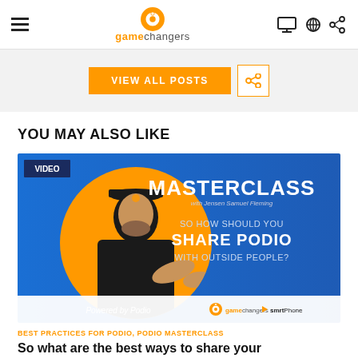gamechangers navigation header
[Figure (other): VIEW ALL POSTS button and share/link icon button on grey background banner]
YOU MAY ALSO LIKE
[Figure (screenshot): Masterclass video thumbnail: man in black cap and shirt with orange circle background. Text: MASTERCLASS with Jensen Samuel Fleming, SO HOW SHOULD YOU SHARE PODIO WITH OUTSIDE PEOPLE? Powered by Podio. Logos: game changers, smrtPhone. VIDEO badge top left.]
BEST PRACTICES FOR PODIO, PODIO MASTERCLASS
So what are the best ways to share your